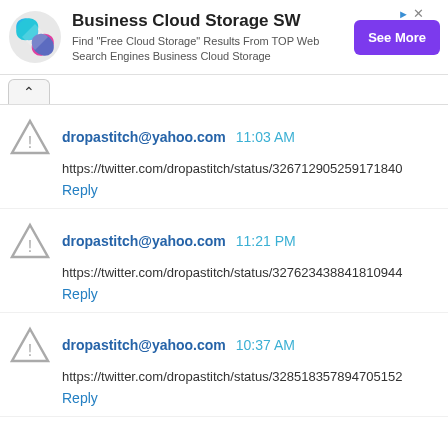[Figure (other): Advertisement banner for Business Cloud Storage SW with colorful diamond logo, text 'Business Cloud Storage SW', 'Find "Free Cloud Storage" Results From TOP Web Search Engines Business Cloud Storage', and a purple 'See More' button]
^ (collapse button)
dropastitch@yahoo.com  11:03 AM
https://twitter.com/dropastitch/status/326712905259171840
Reply
dropastitch@yahoo.com  11:21 PM
https://twitter.com/dropastitch/status/327623438841810944
Reply
dropastitch@yahoo.com  10:37 AM
https://twitter.com/dropastitch/status/328518357894705152
Reply